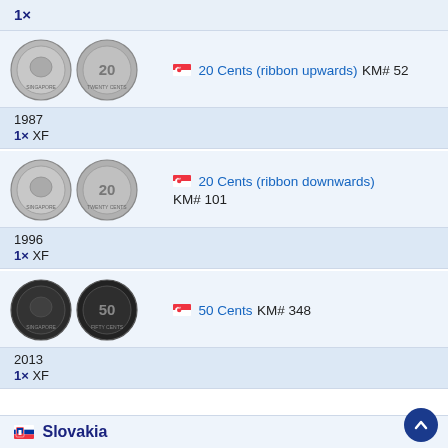1×
[Figure (photo): Two Singapore 20 Cents (ribbon upwards) coins, obverse and reverse, silver colored]
🇸🇬 20 Cents (ribbon upwards) KM# 52
1987
1× XF
[Figure (photo): Two Singapore 20 Cents (ribbon downwards) coins, obverse and reverse, silver colored]
🇸🇬 20 Cents (ribbon downwards) KM# 101
1996
1× XF
[Figure (photo): Two Singapore 50 Cents coins, obverse and reverse, dark colored]
🇸🇬 50 Cents KM# 348
2013
1× XF
🇸🇰 Slovakia